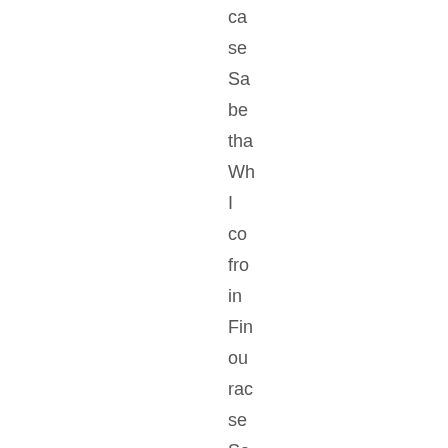ca
se
Sa
be
tha
Wh
I
co
fro
in
Fin
ou
rac
se
Sa
as
he
flio